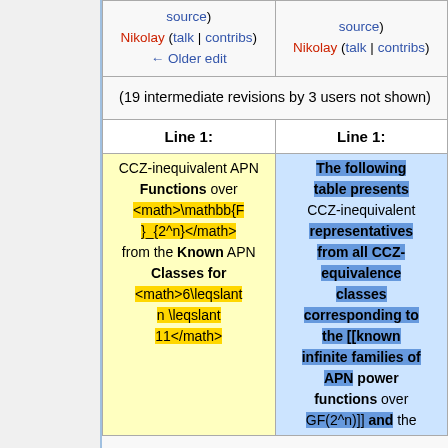| (left column) | (right column) |
| --- | --- |
| Nikolay (talk | contribs)
← Older edit | Nikolay (talk | contribs) |
| (19 intermediate revisions by 3 users not shown) |  |
| Line 1: | Line 1: |
| CCZ-inequivalent APN Functions over <math>\mathbb{F}_{2^n}</math> from the Known APN Classes for <math>6\leqslant n \leqslant 11</math> | The following table presents CCZ-inequivalent representatives from all CCZ-equivalence classes corresponding to the [[known infinite families of APN power functions over GF(2^n)]] and the ... |